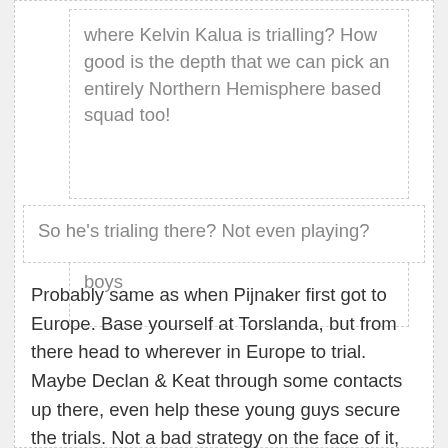where Kelvin Kalua is trialling? How good is the depth that we can pick an entirely Northern Hemisphere based squad too!
He's at Torslanda with the other Ole boys
So he's trialing there? Not even playing?
Probably same as when Pijnaker first got to Europe. Base yourself at Torslanda, but from there head to wherever in Europe to trial. Maybe Declan & Keat through some contacts up there, even help these young guys secure the trials. Not a bad strategy on the face of it, with a good